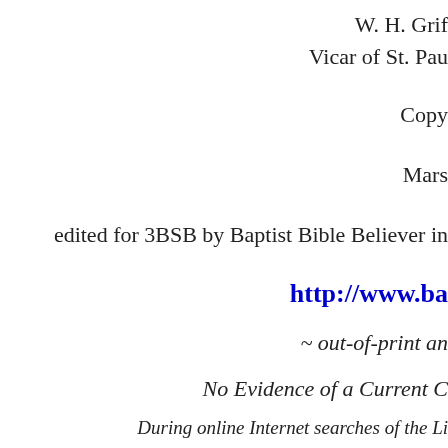W. H. Grif
Vicar of St. Pau
Copy
Mars
edited for 3BSB by Baptist Bible Believer in
http://www.ba
~ out-of-print an
No Evidence of a Current C
During online Internet searches of the Li performed on 12-11-2008, no evidence of
Please note: If you wish to read (which is absolutely free), simp to save it to your computer. To create a folder, right cl
GOD bless you from the
Please tell everyone you know about this website,